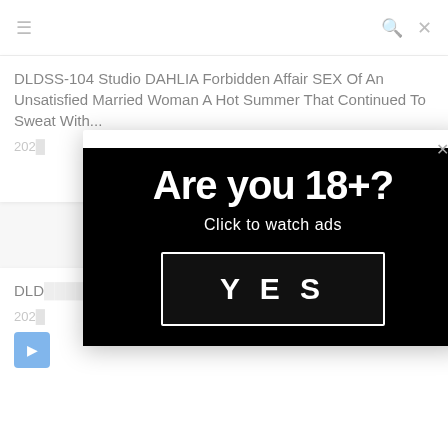≡  🔍  ✕
DLDSS-104 Studio DAHLIA Forbidden Affair SEX Of An Unsatisfied Married Woman A Hot Summer That Continued To Sweat With...
2022
DLDS... Sub... male Bos...
2022
[Figure (screenshot): Age verification modal overlay on a website. Black banner with bold white text reading 'Are you 18+?' and subtext 'Click to watch ads', with a YES button in a white border rectangle. A close (×) button appears at the top of the modal.]